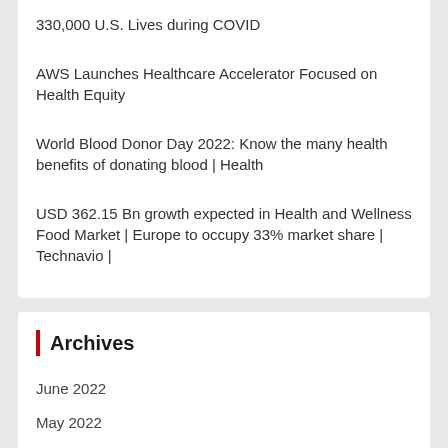330,000 U.S. Lives during COVID
AWS Launches Healthcare Accelerator Focused on Health Equity
World Blood Donor Day 2022: Know the many health benefits of donating blood | Health
USD 362.15 Bn growth expected in Health and Wellness Food Market | Europe to occupy 33% market share | Technavio |
Archives
June 2022
May 2022
April 2022
March 2022
December 2021